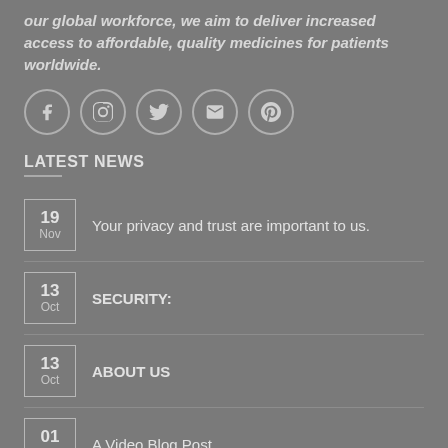our global workforce, we aim to deliver increased access to affordable, quality medicines for patients worldwide.
[Figure (infographic): Five social media icons in circles: Facebook, Instagram, Twitter, Email/Envelope, Pinterest]
LATEST NEWS
19 Nov — Your privacy and trust are important to us.
13 Oct — SECURITY:
13 Oct — ABOUT US
01 Jan — A Video Blog Post